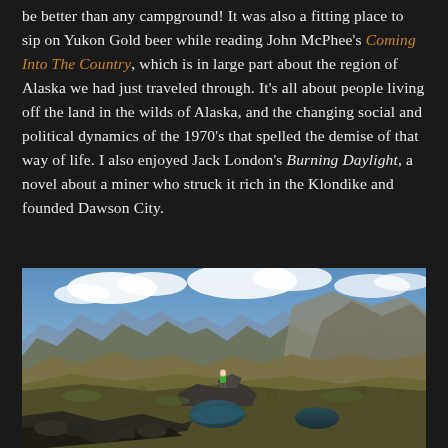be better than any campground! It was also a fitting place to sip on Yukon Gold beer while reading John McPhee's Coming Into The Country, which is in large part about the region of Alaska we had just traveled through. It's all about people living off the land in the wilds of Alaska, and the changing social and political dynamics of the 1970's that spelled the demise of that way of life. I also enjoyed Jack London's Burning Daylight, a novel about a miner who struck it rich in the Klondike and founded Dawson City.
[Figure (photo): A hiker in a bright green jacket stands on a rocky summit overlooking two alpine lakes surrounded by dramatic mountain ranges under a partly cloudy blue sky. The landscape shows autumn tundra colors of green, gold, and brown.]